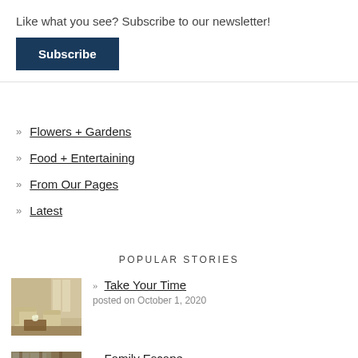Like what you see? Subscribe to our newsletter!
Subscribe
» Flowers + Gardens
» Food + Entertaining
» From Our Pages
» Latest
POPULAR STORIES
[Figure (photo): Interior living room with cream armchairs and a coffee table with flowers]
» Take Your Time
posted on October 1, 2020
[Figure (photo): Interior room with large windows, wood beams, and a wooden coffee table]
» Family Escape
posted on June 25, 2021